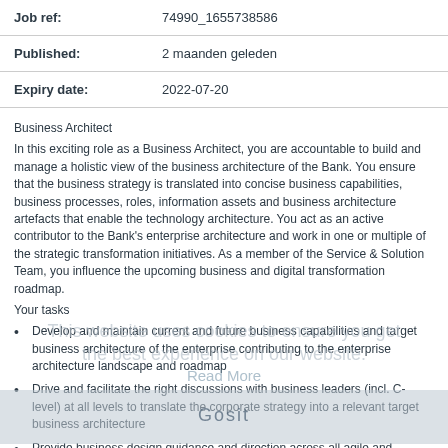| Job ref: | 74990_1655738586 |
| Published: | 2 maanden geleden |
| Expiry date: | 2022-07-20 |
Business Architect
In this exciting role as a Business Architect, you are accountable to build and manage a holistic view of the business architecture of the Bank. You ensure that the business strategy is translated into concise business capabilities, business processes, roles, information assets and business architecture artefacts that enable the technology architecture. You act as an active contributor to the Bank's enterprise architecture and work in one or multiple of the strategic transformation initiatives. As a member of the Service & Solution Team, you influence the upcoming business and digital transformation roadmap.
Your tasks
Develop and maintain current and future business capabilities and target business architecture of the enterprise contributing to the enterprise architecture landscape and roadmap
Drive and facilitate the right discussions with business leaders (incl. C-level) at all levels to translate the corporate strategy into a relevant target business architecture
Provide business design guidance and direction across all agile and